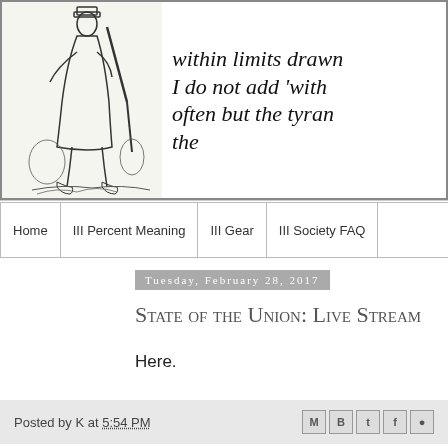[Figure (illustration): Header banner with illustration of a minuteman/colonial soldier on the left and italic serif quote text on the right reading partial lines: 'within limits drawn', 'I do not add with', 'often but the tyran', 'the']
Home | III Percent Meaning | III Gear | III Society FAQ
Tuesday, February 28, 2017
State of the Union: Live Stream
Here.
Posted by K at 5:54 PM